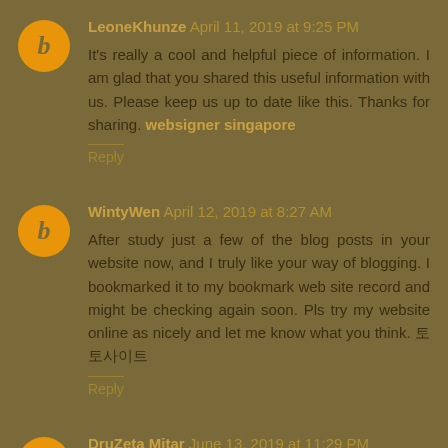LeoneKhunze April 11, 2019 at 9:25 PM
It's really a cool and helpful piece of information. I am glad that you shared this useful information with us. Please keep us up to date like this. Thanks for sharing. websigner singapore
Reply
WintyWen April 12, 2019 at 8:27 AM
After study just a few of the blog posts in your website now, and I truly like your way of blogging. I bookmarked it to my bookmark web site record and might be checking again soon. Pls try my website online as nicely and let me know what you think. 토토사이트
Reply
DruZeta Mitar June 13, 2019 at 11:29 PM